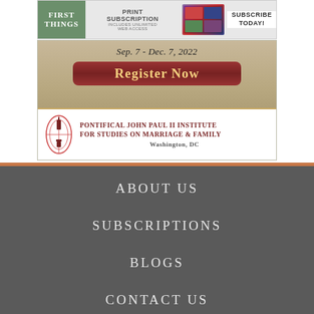[Figure (illustration): First Things magazine print subscription advertisement banner with logo, 'PRINT SUBSCRIPTION INCLUDES UNLIMITED WEB ACCESS', magazine images, and 'SUBSCRIBE TODAY!' text]
[Figure (illustration): Pontifical John Paul II Institute registration banner with 'Sep. 7 - Dec. 7, 2022', 'REGISTER NOW' button, institute logo and name 'PONTIFICAL JOHN PAUL II INSTITUTE FOR STUDIES ON MARRIAGE & FAMILY, WASHINGTON, DC']
ABOUT US
SUBSCRIPTIONS
BLOGS
CONTACT US